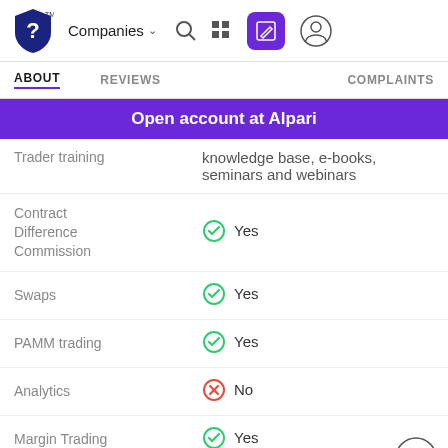Companies navigation header with logo, Companies dropdown, search, grid, edit, and user icons
ABOUT   REVIEWS   COMPLAINTS
Open account at Alpari
| Feature | Value |
| --- | --- |
| Trader training | knowledge base, e-books, seminars and webinars |
| Contract Difference Commission | Yes |
| Swaps | Yes |
| PAMM trading | Yes |
| Analytics | No |
| Margin Trading | Yes |